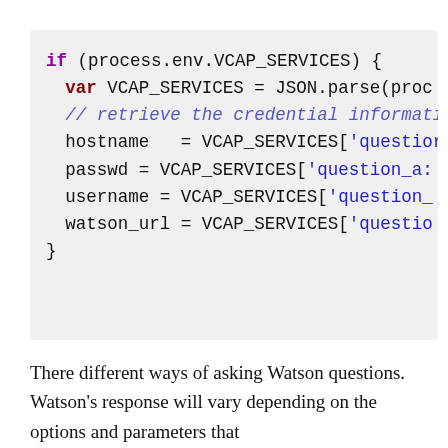[Figure (screenshot): Code block showing JavaScript snippet checking process.env.VCAP_SERVICES and parsing credentials including hostname, passwd, username, watson_url from VCAP_SERVICES object.]
There different ways of asking Watson questions. Watson’s response will vary depending on the options and parameters that